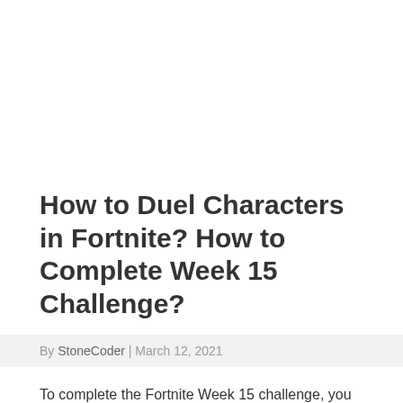How to Duel Characters in Fortnite? How to Complete Week 15 Challenge?
By StoneCoder | March 12, 2021
To complete the Fortnite Week 15 challenge, you will have to duel the characters. So here is How to duel characters in Fortnite and how to complete the week 15 challenge,